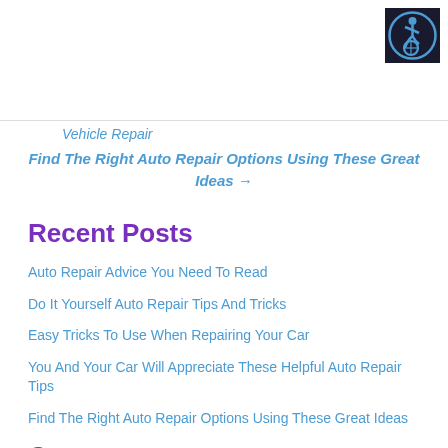[Figure (logo): Accessibility icon: wheelchair user in a circle on dark background]
Vehicle Repair
Find The Right Auto Repair Options Using These Great Ideas →
Recent Posts
Auto Repair Advice You Need To Read
Do It Yourself Auto Repair Tips And Tricks
Easy Tricks To Use When Repairing Your Car
You And Your Car Will Appreciate These Helpful Auto Repair Tips
Find The Right Auto Repair Options Using These Great Ideas
Categories